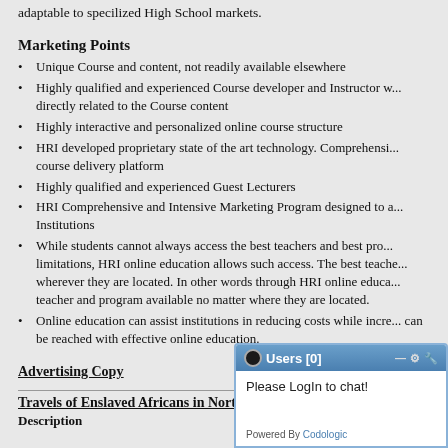adaptable to specilized High School markets.
Marketing Points
Unique Course and content, not readily available elsewhere
Highly qualified and experienced Course developer and Instructor w... directly related to the Course content
Highly interactive and personalized online course structure
HRI developed proprietary state of the art technology. Comprehensi... course delivery platform
Highly qualified and experienced Guest Lecturers
HRI Comprehensive and Intensive Marketing Program designed to a... Institutions
While students cannot always access the best teachers and best pro... limitations, HRI online education allows such access. The best teache... wherever they are located. In other words through HRI online educa... teacher and program available no matter where they are located.
Online education can assist institutions in reducing costs while incre... can be reached with effective online education.
Advertising Copy
Travels of Enslaved Africans in North A...
Description